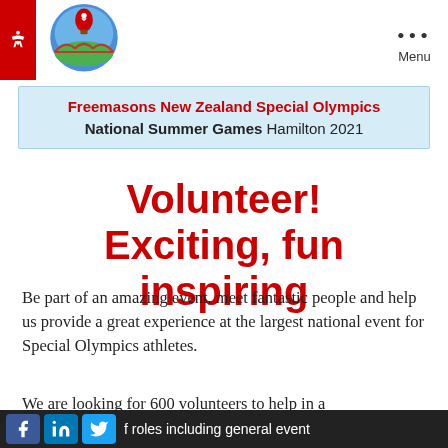Freemasons New Zealand Special Olympics National Summer Games Hamilton 2021 [header with logo and menu]
Freemasons New Zealand Special Olympics National Summer Games Hamilton 2021
Volunteer! Exciting, fun inspiring
Be part of an amazing event, meet fantastic people and help us provide a great experience at the largest national event for Special Olympics athletes.
We are looking for 600 volunteers to help in a range of roles including general event
[Social media icons: Facebook, LinkedIn, Twitter]